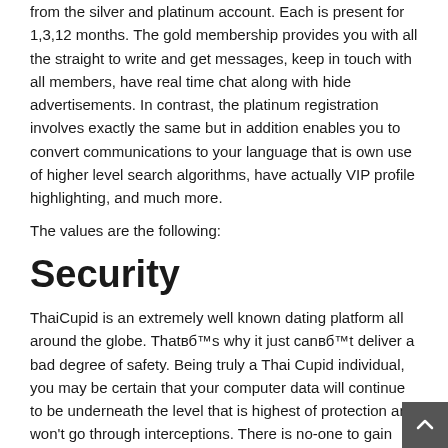from the silver and platinum account. Each is present for 1,3,12 months. The gold membership provides you with all the straight to write and get messages, keep in touch with all members, have real time chat along with hide advertisements. In contrast, the platinum registration involves exactly the same but in addition enables you to convert communications to your language that is own use of higher level search algorithms, have actually VIP profile highlighting, and much more.
The values are the following:
Security
ThaiCupid is an extremely well known dating platform all around the globe. Thatвб™s why it just canвб™t deliver a bad degree of safety. Being truly a Thai Cupid individual, you may be certain that your computer data will continue to be underneath the level that is highest of protection and won't go through interceptions. There is no-one to gain access to your computer data, which will be firmly kept black christian people meet in special information facilities. If any nagging